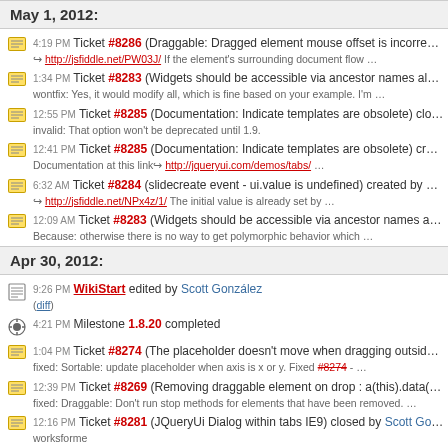May 1, 2012:
4:19 PM Ticket #8286 (Draggable: Dragged element mouse offset is incorrect when docume... → http://jsfiddle.net/PW03J/ If the element's surrounding document flow ...
1:34 PM Ticket #8283 (Widgets should be accessible via ancestor names also) closed by S... wontfix: Yes, it would modify all, which is fine based on your example. I'm ...
12:55 PM Ticket #8285 (Documentation: Indicate templates are obsolete) closed by Scott G... invalid: That option won't be deprecated until 1.9.
12:41 PM Ticket #8285 (Documentation: Indicate templates are obsolete) created by ericjoh... Documentation at this link → http://jqueryui.com/demos/tabs/ ...
6:32 AM Ticket #8284 (slidecreate event - ui.value is undefined) created by enumag → http://jsfiddle.net/NPx4z/1/ The initial value is already set by ...
12:09 AM Ticket #8283 (Widgets should be accessible via ancestor names also) created by... Because: otherwise there is no way to get polymorphic behavior which ...
Apr 30, 2012:
9:26 PM WikiStart edited by Scott González (diff)
4:21 PM Milestone 1.8.20 completed
1:04 PM Ticket #8274 (The placeholder doesn't move when dragging outside of container e... fixed: Sortable: update placeholder when axis is x or y. Fixed #8274 - ...
12:39 PM Ticket #8269 (Removing draggable element on drop : a(this).data("draggable") is... fixed: Draggable: Don't run stop methods for elements that have been removed. ...
12:16 PM Ticket #8281 (JQueryUi Dialog within tabs IE9) closed by Scott González worksfor me
11:48 AM Ticket #8282 (Double escape clear IE form, continue Ticket #7643) closed by S...